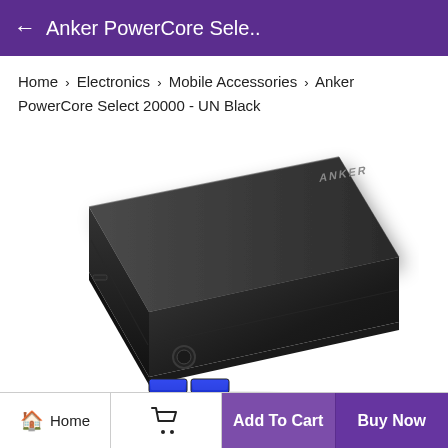← Anker PowerCore Sele..
Home › Electronics › Mobile Accessories › Anker PowerCore Select 20000 - UN Black
[Figure (photo): Product photo of Anker PowerCore Select 20000 portable charger in black, shown at an angle with two USB ports visible at the bottom end and the Anker logo on top.]
Home  Add To Cart  Buy Now